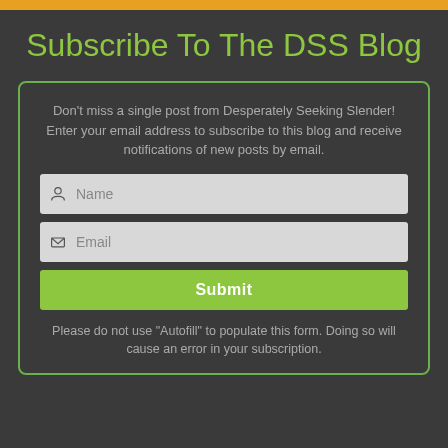Subscribe To The DSS Blog
Don't miss a single post from Desperately Seeking Slender! Enter your email address to subscribe to this blog and receive notifications of new posts by email.
[Figure (other): Email subscription form with Name and Email input fields and a Submit button]
Please do not use “Autofill” to populate this form. Doing so will cause an error in your subscription.